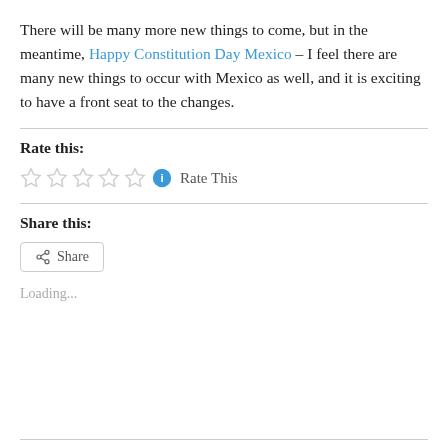There will be many more new things to come, but in the meantime, Happy Constitution Day Mexico – I feel there are many new things to occur with Mexico as well, and it is exciting to have a front seat to the changes.
Rate this:
[Figure (other): Five empty star rating icons followed by a blue info icon and 'Rate This' text]
Share this:
[Figure (other): Share button with share icon]
Loading...